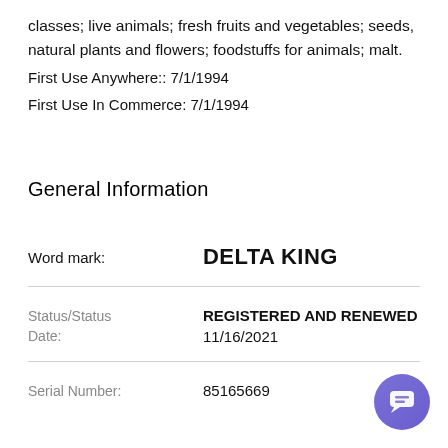classes; live animals; fresh fruits and vegetables; seeds, natural plants and flowers; foodstuffs for animals; malt.
First Use Anywhere:: 7/1/1994
First Use In Commerce: 7/1/1994
General Information
| Field | Value |
| --- | --- |
| Word mark: | DELTA KING |
| Status/Status Date: | REGISTERED AND RENEWED 11/16/2021 |
| Serial Number: | 85165669 |